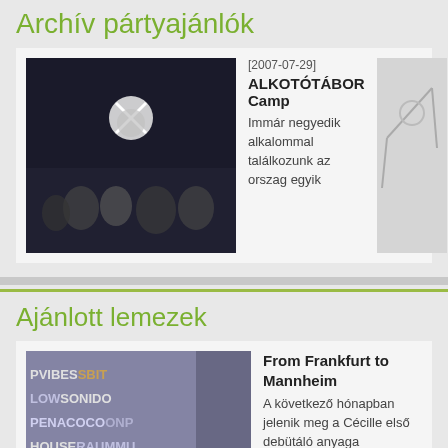Archív pártyajánlók
[Figure (photo): Party photo with disco ball and crowd]
[2007-07-29] ALKOTÓTÁBOR Camp Immár negyedik alkalommal találkozunk az orszag egyik
Ajánlott lemezek
[Figure (photo): Album cover with text: PVIBESBBIT LOWSONIDO PENACOCOONP HOUSERAUMMU IECHOSENCON SSEURFROMFRA URTTOMANNHI]
From Frankfurt to Mannheim A következő hónapban jelenik meg a Cécille első debütáló anyaga
Biográfiák
Jon Rundell